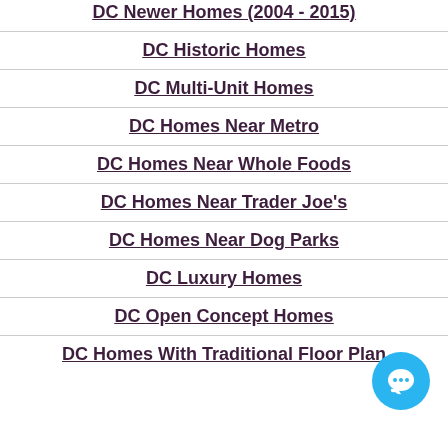DC Newer Homes (2004 - 2015)
DC Historic Homes
DC Multi-Unit Homes
DC Homes Near Metro
DC Homes Near Whole Foods
DC Homes Near Trader Joe's
DC Homes Near Dog Parks
DC Luxury Homes
DC Open Concept Homes
DC Homes With Traditional Floor Plan